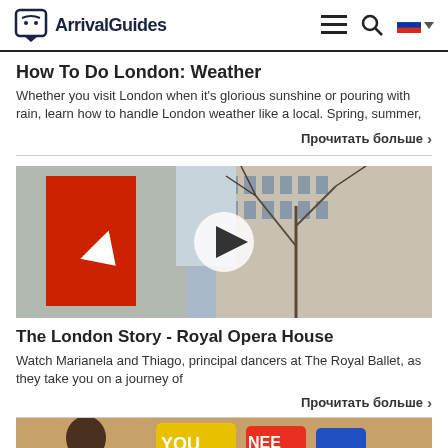ArrivalGuides
How To Do London: Weather
Whether you visit London when it's glorious sunshine or pouring with rain, learn how to handle London weather like a local. Spring, summer,
Прочитать больше
[Figure (photo): Video thumbnail showing Royal Opera House sign with red banner and arrow, bare winter trees, with a play button overlay]
The London Story - Royal Opera House
Watch Marianela and Thiago, principal dancers at The Royal Ballet, as they take you on a journey of
Прочитать больше
[Figure (photo): Partial image of a person with colorful background, bottom of page]